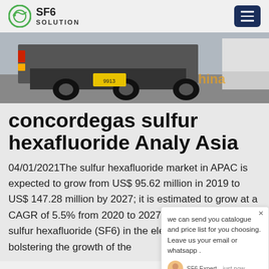SF6 SOLUTION
[Figure (photo): Rear view of a truck with yellow license plate, industrial setting, outdoor daytime]
concordegas sulfur hexafluoride Analysis Asia
04/01/2021The sulfur hexafluoride market in APAC is expected to grow from US$ 95.62 million in 2019 to US$ 147.28 million by 2027; it is estimated to grow at a CAGR of 5.5% from 2020 to 2027. Rising demand for sulfur hexafluoride (SF6) in the electronics industry is bolstering the growth of the